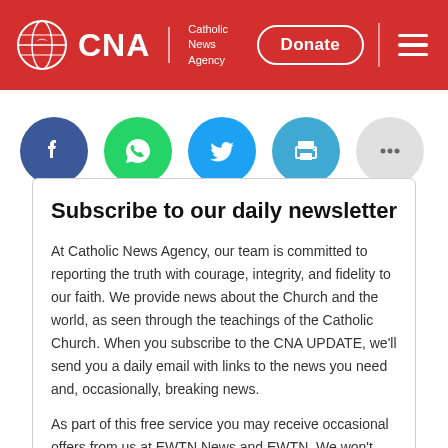CNA Catholic News Agency — Donate
[Figure (infographic): Social sharing buttons: Facebook, WhatsApp, Twitter, Print, More (...)]
Subscribe to our daily newsletter
At Catholic News Agency, our team is committed to reporting the truth with courage, integrity, and fidelity to our faith. We provide news about the Church and the world, as seen through the teachings of the Catholic Church. When you subscribe to the CNA UPDATE, we'll send you a daily email with links to the news you need and, occasionally, breaking news.
As part of this free service you may receive occasional offers from us at EWTN News and EWTN. We won't rent or sell your information, and you can unsubscribe at any time.